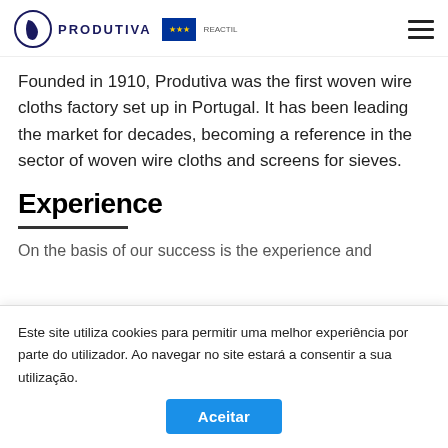PRODUTIVA [logo with EU flag and REACTIL text]
Founded in 1910, Produtiva was the first woven wire cloths factory set up in Portugal. It has been leading the market for decades, becoming a reference in the sector of woven wire cloths and screens for sieves.
Experience
On the basis of our success is the experience and
Este site utiliza cookies para permitir uma melhor experiência por parte do utilizador. Ao navegar no site estará a consentir a sua utilização. Aceitar